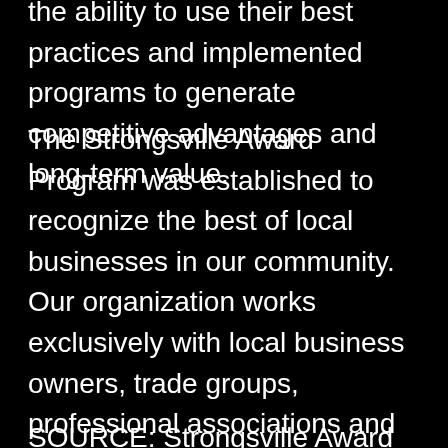the ability to use their best practices and implemented programs to generate competitive advantages and long-term value.
The Strongsville Award Program was established to recognize the best of local businesses in our community. Our organization works exclusively with local business owners, trade groups, professional associations and other business advertising and marketing groups. Our mission is to recognize the small business community's contributions to the U.S. economy.
SOURCE: Strongsville Award Program